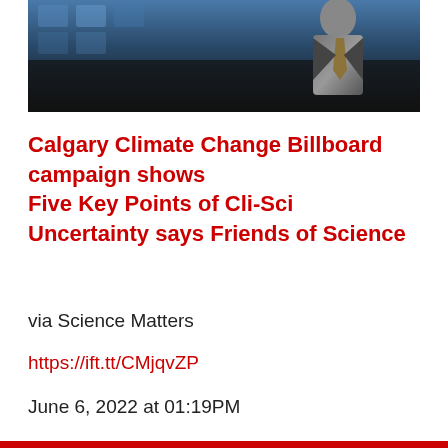[Figure (photo): Photo of a person in a dark suit with a patterned tie, against a blue and dark background]
Calgary Climate Change Billboard campaign shows Five Key Points of Cli-Sci Uncertainty says Friends of Science
via Science Matters
https://ift.tt/CMjqvZP
June 6, 2022 at 01:19PM